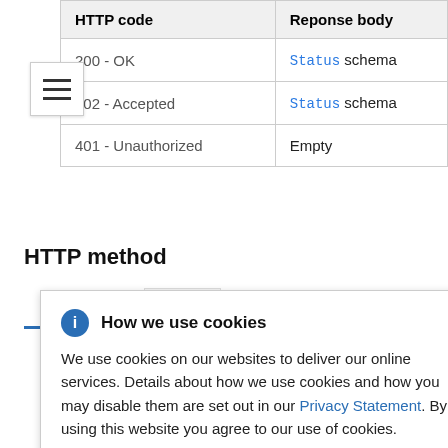| HTTP code | Reponse body |
| --- | --- |
| 200 - OK | Status schema |
| 202 - Accepted | Status schema |
| 401 - Unauthorized | Empty |
HTTP method
GET
How we use cookies
We use cookies on our websites to deliver our online services. Details about how we use cookies and how you may disable them are set out in our Privacy Statement. By using this website you agree to our use of cookies.
onfiguration
ation schema